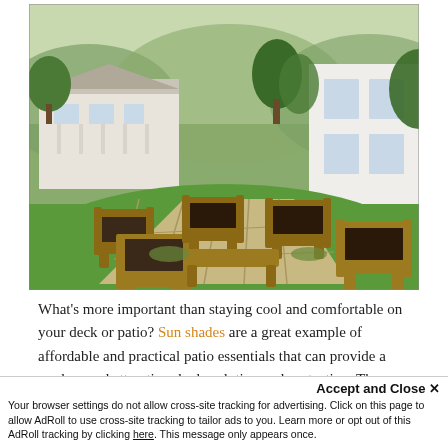[Figure (photo): Outdoor patio with wooden lounge chairs with dark brown cushions arranged on stone pavers, lush green lawn, trees, and a white house in the background.]
What's more important than staying cool and comfortable on your deck or patio? Sun shades are a great example of affordable and practical patio essentials that can provide a modern and attractive shade solution and protection. These easy-to-assemble, affordable, and charming shade solutions can...
Accept and Close ×
Your browser settings do not allow cross-site tracking for advertising. Click on this page to allow AdRoll to use cross-site tracking to tailor ads to you. Learn more or opt out of this AdRoll tracking by clicking here. This message only appears once.